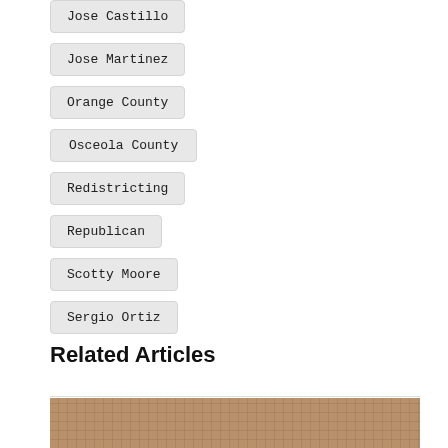Jose Castillo
Jose Martinez
Orange County
Osceola County
Redistricting
Republican
Scotty Moore
Sergio Ortiz
Related Articles
[Figure (photo): Partial photo of a person, shown from below the chin, with a grid/plaid pattern in the background]